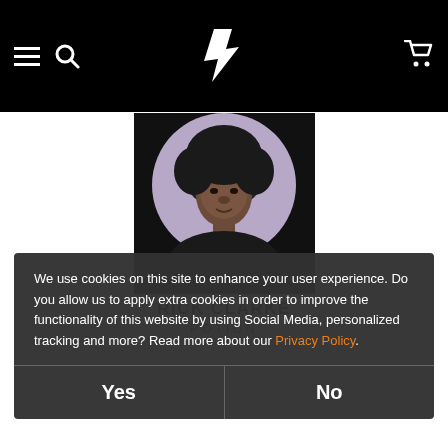Navigation header with hamburger menu, search icon, logo, and cart icon
[Figure (photo): Circular black-and-white portrait photo of Rick Clarke with afro hairstyle, on purple/mauve circle background, within a rectangular black-bordered box]
RICK CLARKE
POTION
We use cookies on this site to enhance your user experience. Do you allow us to apply extra cookies in order to improve the functionality of this website by using Social Media, personalized tracking and more? Read more about our Privacy Policy.
Yes
No